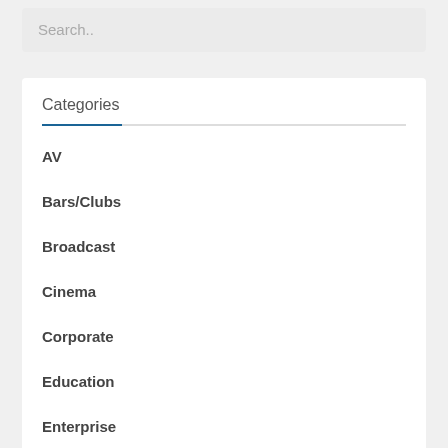Search..
Categories
AV
Bars/Clubs
Broadcast
Cinema
Corporate
Education
Enterprise
Entertainment